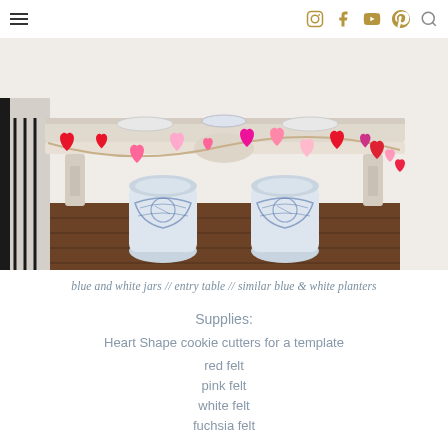navigation header with hamburger menu and social icons
[Figure (photo): White entry table with heart garland draped across front, two blue and white ceramic jars/planters underneath, staircase railing visible on left, light interior setting]
blue and white jars // entry table // similar blue & white planters
Supplies:
Heart Shape cookie cutters for a template
red felt
pink felt
white felt
fuchsia felt